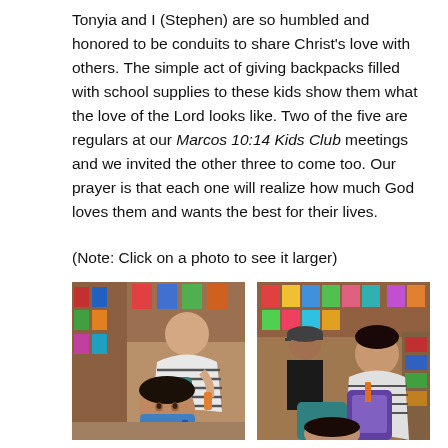Tonyia and I (Stephen) are so humbled and honored to be conduits to share Christ's love with others. The simple act of giving backpacks filled with school supplies to these kids show them what the love of the Lord looks like. Two of the five are regulars at our Marcos 10:14 Kids Club meetings and we invited the other three to come too. Our prayer is that each one will realize how much God loves them and wants the best for their lives.
(Note: Click on a photo to see it larger)
[Figure (photo): Photo of a young boy smiling holding school supplies, with a woman in a striped shirt behind him in a room with shelves of supplies]
[Figure (photo): Photo of people looking through backpacks filled with school supplies in a room with colorful shelves]